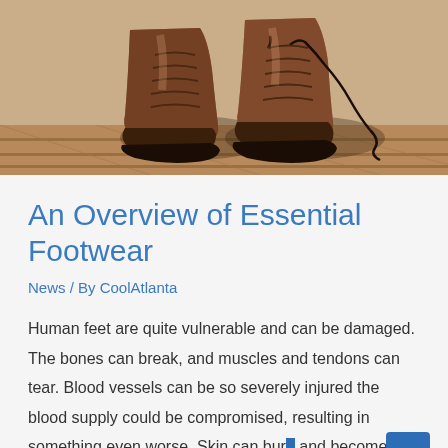[Figure (photo): Close-up photo of brown leather work boots with black laces on a wooden floor background]
An Overview of Essential Footwear
News / By CoolAtlanta
Human feet are quite vulnerable and can be damaged. The bones can break, and muscles and tendons can tear. Blood vessels can be so severely injured the blood supply could be compromised, resulting in something even worse. Skin can burn and become irritated as well. You need to have